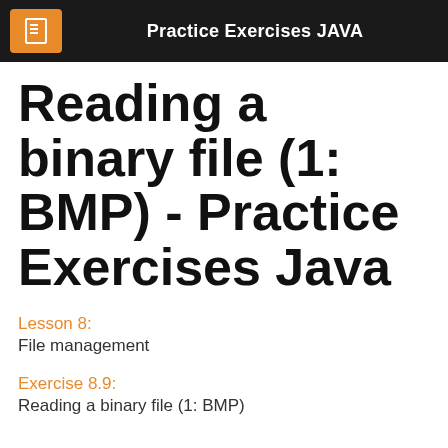Practice Exercises JAVA
Reading a binary file (1: BMP) - Practice Exercises Java
Lesson 8:
File management
Exercise 8.9:
Reading a binary file (1: BMP)